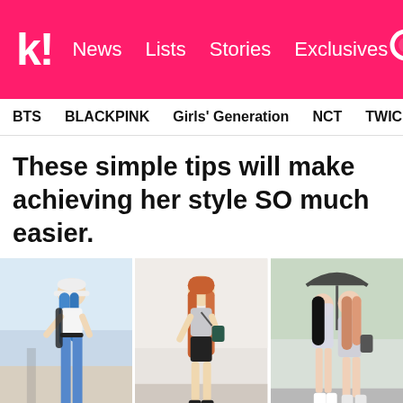k! News  Lists  Stories  Exclusives
BTS  BLACKPINK  Girls' Generation  NCT  TWICE  aespa
These simple tips will make achieving her style SO much easier.
[Figure (photo): Three side-by-side photos of K-pop female artists in stylish airport/street outfits. Left: woman with blue hair wearing white top and flared jeans with a bucket hat. Center: woman with long auburn hair in gray top and black shorts with crossbody bag. Right: two women posing together under umbrella in blazer outfits.]